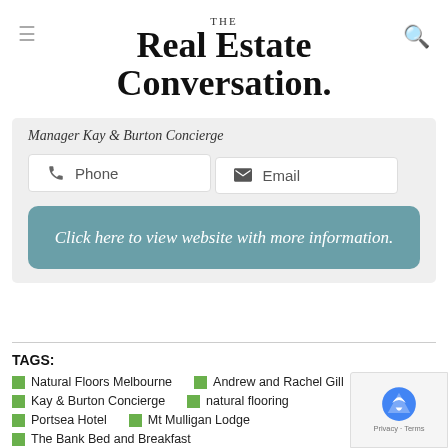THE Real Estate Conversation.
Manager Kay & Burton Concierge
Phone
Email
Click here to view website with more information.
TAGS:
Natural Floors Melbourne
Andrew and Rachel Gill
Kay & Burton Concierge
natural flooring
Portsea Hotel
Mt Mulligan Lodge
The Bank Bed and Breakfast